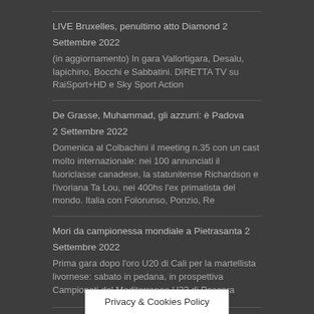LIVE Bruxelles, penultimo atto Diamond 2 Settembre 2022
(in aggiornamento) In gara Vallortigara, Desalu, Iapichino, Bocchi e Sabbatini. DIRETTA TV su RaiSport+HD e Sky Sport Action
De Grasse, Muhammad, gli azzurri: è Padova 2 Settembre 2022
Domenica al Colbachini il meeting n.35 con un cast molto internazionale: nei 100 annunciati il fuoriclasse canadese, la statunitense Richardson e l'ivoriana Ta Lou, nei 400hs l'ex primatista del mondo. Italia con Folorunso, Ponzio, Re
Mori da campionessa mondiale a Pietrasanta 2 Settembre 2022
Prima gara dopo l'oro U20 di Cali per la martellista livornese: sabato in pedana, in prospettiva Campionati del Mediterraneo U23 di Pescara
Gimbo e Chiara s...
Privacy & Cookies Policy